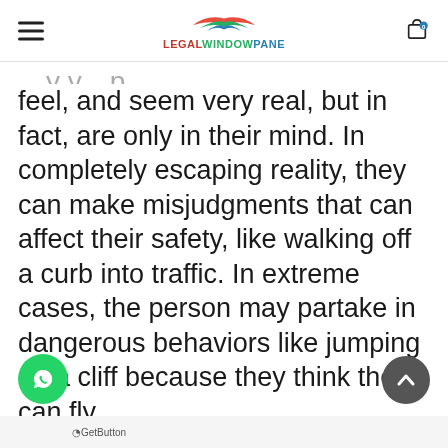LEGALWINDOWPANE
feel, and seem very real, but in fact, are only in their mind. In completely escaping reality, they can make misjudgments that can affect their safety, like walking off a curb into traffic. In extreme cases, the person may partake in dangerous behaviors like jumping off a cliff because they think they can fly.